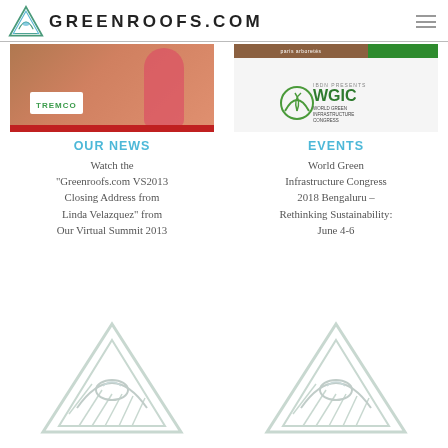GREENROOFS.COM
[Figure (photo): Video thumbnail showing a woman in pink near a Tremco sign]
[Figure (logo): WGIC World Green Infrastructure Congress 2018 logo presented by IBDN]
OUR NEWS
EVENTS
Watch the “Greenroofs.com VS2013 Closing Address from Linda Velazquez” from Our Virtual Summit 2013
World Green Infrastructure Congress 2018 Bengaluru – Rethinking Sustainability: June 4-6
[Figure (logo): Greenroofs.com ghost triangle logo left]
[Figure (logo): Greenroofs.com ghost triangle logo right]